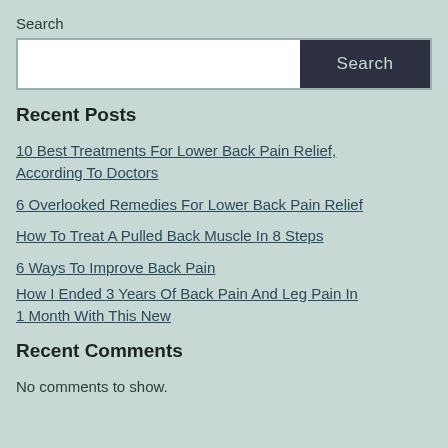Search
[Figure (other): Search input box with a text field on the left and a dark Search button on the right]
Recent Posts
10 Best Treatments For Lower Back Pain Relief, According To Doctors
6 Overlooked Remedies For Lower Back Pain Relief
How To Treat A Pulled Back Muscle In 8 Steps
6 Ways To Improve Back Pain
How I Ended 3 Years Of Back Pain And Leg Pain In 1 Month With This New
Recent Comments
No comments to show.